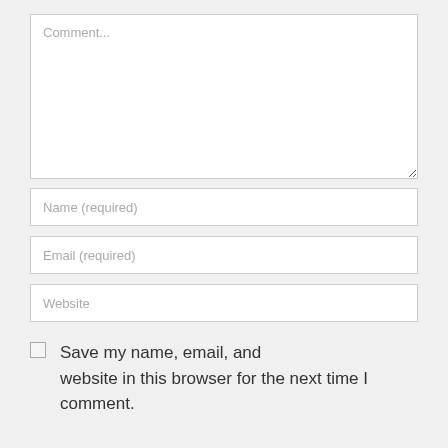Comment...
Name (required)
Email (required)
Website
Save my name, email, and website in this browser for the next time I comment.